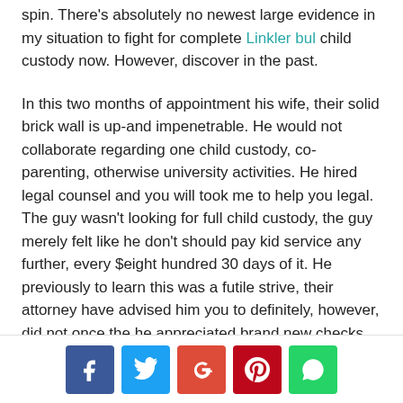spin. There's absolutely no newest large evidence in my situation to fight for complete Linkler bul child custody now. However, discover in the past.
In this two months of appointment his wife, their solid brick wall is up-and impenetrable. He would not collaborate regarding one child custody, co-parenting, otherwise university activities. He hired legal counsel and you will took me to help you legal. The guy wasn't looking for full child custody, the guy merely felt like he don't should pay kid service any further, every $eight hundred 30 days of it. He previously to learn this was a futile strive, their attorney have advised him you to definitely, however, did not once the he appreciated brand new checks upcoming his way.